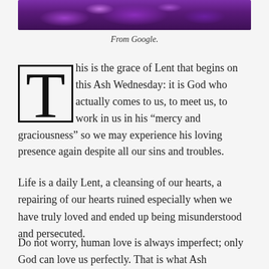[Figure (photo): Purple/violet floral or foliage image used as a decorative header banner]
From Google.
This is the grace of Lent that begins on this Ash Wednesday: it is God who actually comes to us, to meet us, to work in us in his “mercy and graciousness” so we may experience his loving presence again despite all our sins and troubles.
Life is a daily Lent, a cleansing of our hearts, a repairing of our hearts ruined especially when we have truly loved and ended up being misunderstood and persecuted.
Do not worry, human love is always imperfect; only God can love us perfectly. That is what Ash Wednesday